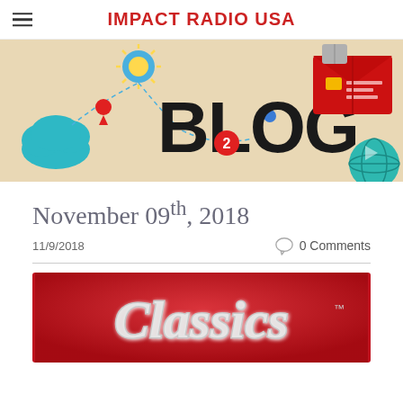IMPACT RADIO USA
[Figure (illustration): Blog banner image with 'BLOG' text in large black letters on a tan/beige background with colorful icons including a sun, cloud, globe, notification badge with number 2, and a red envelope/package in the upper right.]
November 09th, 2018
11/9/2018
0 Comments
[Figure (photo): Red background image with chrome/silver script text reading 'Classics' with a trademark symbol.]